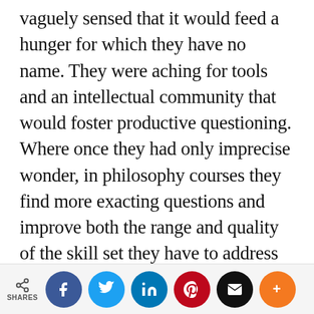vaguely sensed that it would feed a hunger for which they have no name. They were aching for tools and an intellectual community that would foster productive questioning. Where once they had only imprecise wonder, in philosophy courses they find more exacting questions and improve both the range and quality of the skill set they have to address them. With sympathetic, risk-taking others who support transgressive questioning, the range of academic and social information and structures they interrogate grows. Eventually critical engagement becomes
SHARES | Facebook | Twitter | LinkedIn | Pinterest | Email | More